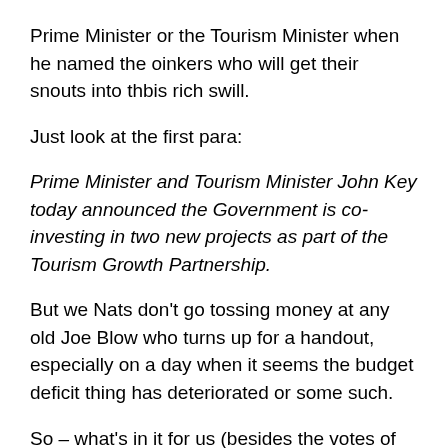Prime Minister or the Tourism Minister when he named the oinkers who will get their snouts into thbis rich swill.
Just look at the first para:
Prime Minister and Tourism Minister John Key today announced the Government is co-investing in two new projects as part of the Tourism Growth Partnership.
But we Nats don't go tossing money at any old Joe Blow who turns up for a handout, especially on a day when it seems the budget deficit thing has deteriorated or some such.
So – what's in it for us (besides the votes of the grateful recipients and maybe a contribution or two to the party)?
“These are two great initiatives which will help increase